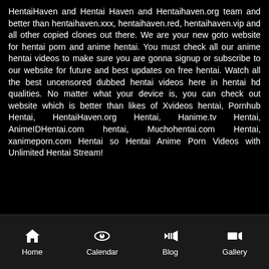HentaiHaven and Hentai Haven and Hentaihaven.org team and better than hentaihaven.xxx, hentaihaven.red, hentaihaven.vip and all other copied clones out there. We are your new goto website for hentai porn and anime hentai. You must check all our anime hentai videos to make sure you are gonna signup or subscribe to our website for future and best updates on free hentai. Watch all the best uncensored dubbed hentai videos here in hentai hd qualities. No matter what your device is, you can check out website which is better than likes of Xvideos hentai, Pornhub Hentai, HentaiHaven.org Hentai, Hanime.tv Hentai, AnimeIDHentai.com hentai, Muchohentai.com Hentai, xanimeporn.com Hentai so Hentai Anime Porn Videos with Unlimited Hentai Stream!
Home | Calendar | Blog | Gallery